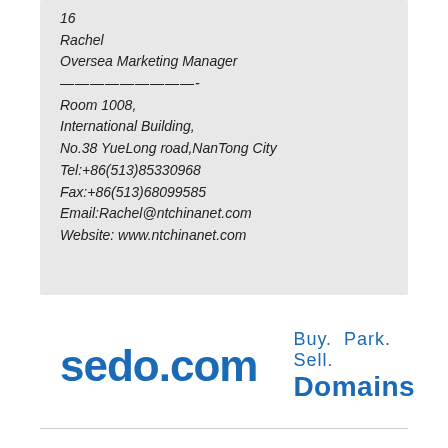16
Rachel
Oversea Marketing Manager
—————————-
Room 1008,
International Building,
No.38 YueLong road,NanTong City
Tel:+86(513)85330968
Fax:+86(513)68099585
Email:Rachel@ntchinanet.com
Website: www.ntchinanet.com
[Figure (logo): sedo.com logo with tagline 'Buy. Park. Sell. Domains' in blue]